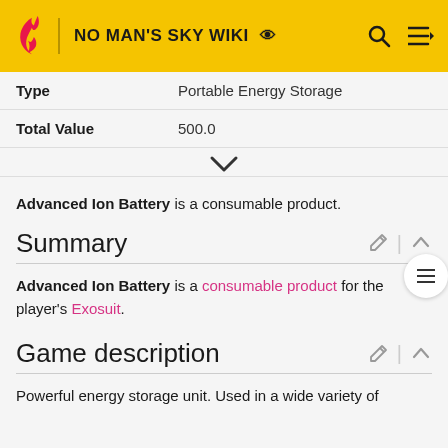NO MAN'S SKY WIKI
| Label | Value |
| --- | --- |
| Type | Portable Energy Storage |
| Total Value | 500.0 |
Advanced Ion Battery is a consumable product.
Summary
Advanced Ion Battery is a consumable product for the player's Exosuit.
Game description
Powerful energy storage unit. Used in a wide variety of